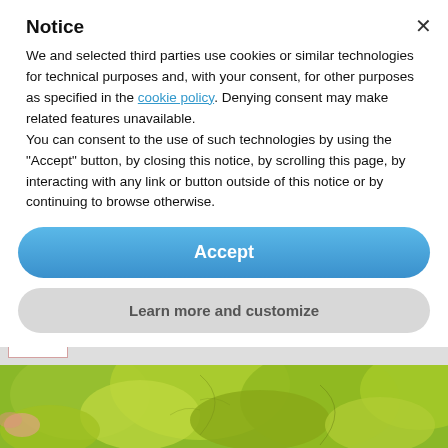Notice
We and selected third parties use cookies or similar technologies for technical purposes and, with your consent, for other purposes as specified in the cookie policy. Denying consent may make related features unavailable.
You can consent to the use of such technologies by using the “Accept” button, by closing this notice, by scrolling this page, by interacting with any link or button outside of this notice or by continuing to browse otherwise.
Accept
Learn more and customize
[Figure (photo): Green oak leaves bonsai plant photograph at the bottom of the page]